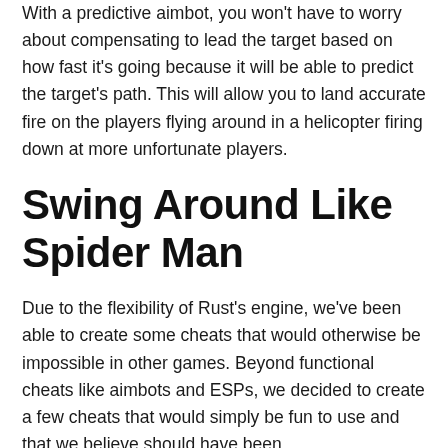With a predictive aimbot, you won't have to worry about compensating to lead the target based on how fast it's going because it will be able to predict the target's path. This will allow you to land accurate fire on the players flying around in a helicopter firing down at more unfortunate players.
Swing Around Like Spider Man
Due to the flexibility of Rust's engine, we've been able to create some cheats that would otherwise be impossible in other games. Beyond functional cheats like aimbots and ESPs, we decided to create a few cheats that would simply be fun to use and that we believe should have been